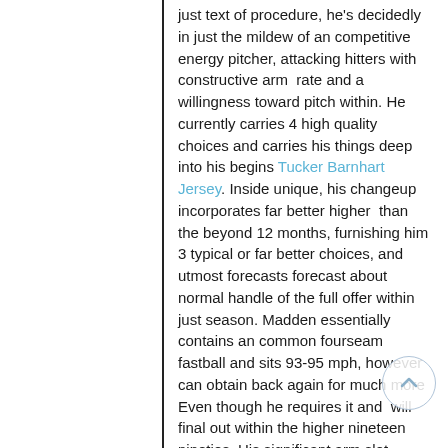just text of procedure, he's decidedly in just the mildew of an competitive energy pitcher, attacking hitters with constructive arm  rate and a willingness toward pitch within. He currently carries 4 high quality  choices and carries his things deep into his begins Tucker Barnhart Jersey. Inside unique, his changeup incorporates far better higher  than the beyond 12 months, furnishing him 3 typical or far better choices, and  utmost forecasts forecast about normal handle of the full offer within just season. Madden essentially contains an common fourseam fastball and sits 93-95 mph, however can obtain back again for much more Even though he requires it and  will final out within the higher nineteen nineties. His significant arm slot  doesn't generate the flat airplane toward the supreme of the zone that attracts  optimum whiffs, and the backbone tilt needed in direction of acquire there is a problem as effectively. Madden appears to be like toward comprehend how in  direction of